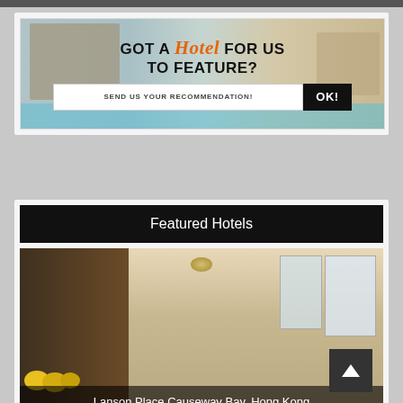[Figure (illustration): Hotel recommendation banner ad with a photo of a luxury hotel with pool, text 'GOT A Hotel FOR US TO FEATURE?' and a call-to-action button 'SEND US YOUR RECOMMENDATION! OK!']
Featured Hotels
[Figure (photo): Interior photo of a luxury hotel suite/lobby at Lanson Place Causeway Bay, Hong Kong, showing elegant furniture, chandelier, large windows, and gold/yellow cushions]
Lanson Place Causeway Bay, Hong Kong